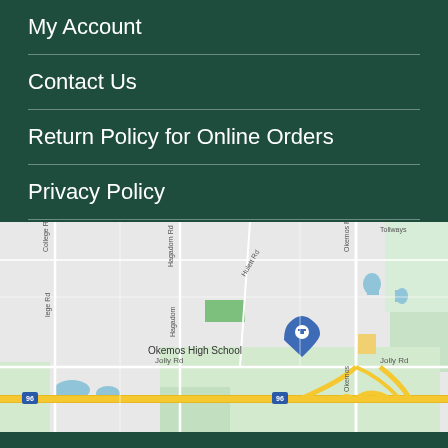My Account
Contact Us
Return Policy for Online Orders
Privacy Policy
[Figure (map): Google Maps screenshot showing area around Okemos High School in Okemos, Michigan, with roads including Jolly Rd, Hulett Rd, Hagadorn Rd, Okemos Rd, and Interstate 96.]